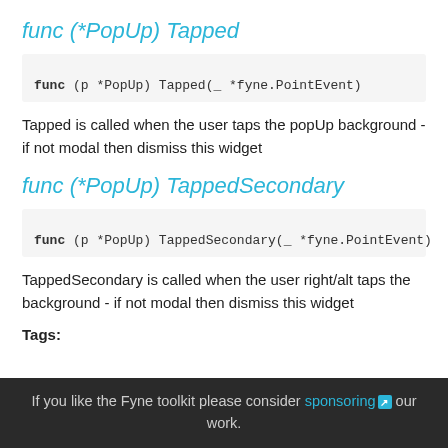func (*PopUp) Tapped
func (p *PopUp) Tapped(_ *fyne.PointEvent)
Tapped is called when the user taps the popUp background - if not modal then dismiss this widget
func (*PopUp) TappedSecondary
func (p *PopUp) TappedSecondary(_ *fyne.PointEvent)
TappedSecondary is called when the user right/alt taps the background - if not modal then dismiss this widget
Tags:
If you like the Fyne toolkit please consider sponsoring our work.